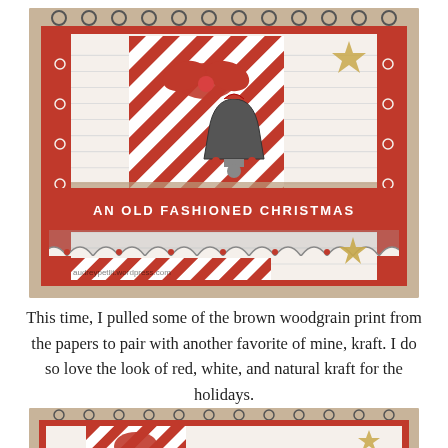[Figure (photo): A handmade Christmas card with red and white striped patterned paper, a banner reading 'AN OLD FASHIONED CHRISTMAS', Christmas bells embellishment with red bow, scalloped border, star decorations, on a kraft paper-colored background. Watermark: audreypetlit.wordpress.com]
This time, I pulled some of the brown woodgrain print from the papers to pair with another favorite of mine, kraft. I do so love the look of red, white, and natural kraft for the holidays.
[Figure (photo): Bottom portion of another handmade Christmas card with similar red and white striped patterned paper on kraft background, partially visible.]